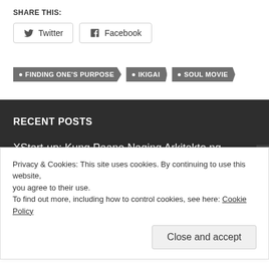SHARE THIS:
Twitter
Facebook
FINDING ONE'S PURPOSE
IKIGAI
SOUL MOVIE
RECENT POSTS
XStart-up: Kung Paano Naging Arkitekto ng Disenyo ang mga X...
Privacy & Cookies: This site uses cookies. By continuing to use this website, you agree to their use. To find out more, including how to control cookies, see here: Cookie Policy
Close and accept